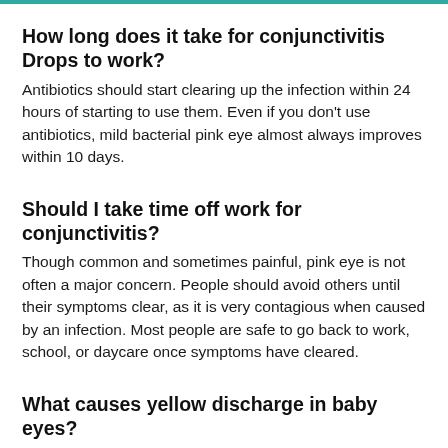How long does it take for conjunctivitis Drops to work?
Antibiotics should start clearing up the infection within 24 hours of starting to use them. Even if you don't use antibiotics, mild bacterial pink eye almost always improves within 10 days.
Should I take time off work for conjunctivitis?
Though common and sometimes painful, pink eye is not often a major concern. People should avoid others until their symptoms clear, as it is very contagious when caused by an infection. Most people are safe to go back to work, school, or daycare once symptoms have cleared.
What causes yellow discharge in baby eyes?
Symptoms are similar to the sticky, watery eyes that come with a blocked tear duct. But with conjunctivitis, there is more swelling, tenderness, and redness of the eye area, and